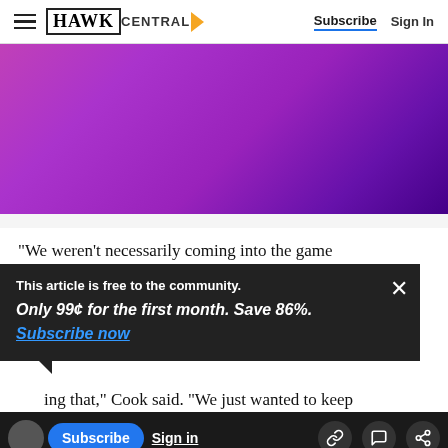HAWK CENTRAL | Subscribe | Sign In
[Figure (photo): Purple and magenta gradient background image, blurred, used as hero/banner image for article.]
“We weren’t necessarily coming into the game
This article is free to the community.
Only 99¢ for the first month. Save 86%.
Subscribe now
oing that,” Cook said. “We just wanted to keep
The Hawkeyes ended up with a 42-38 advantage